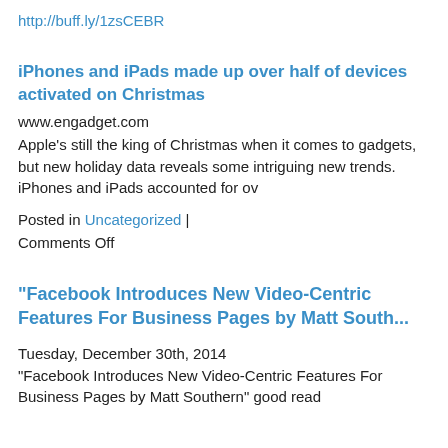http://buff.ly/1zsCEBR
iPhones and iPads made up over half of devices activated on Christmas
www.engadget.com
Apple's still the king of Christmas when it comes to gadgets, but new holiday data reveals some intriguing new trends. iPhones and iPads accounted for ov
Posted in Uncategorized | Comments Off
"Facebook Introduces New Video-Centric Features For Business Pages by Matt South..."
Tuesday, December 30th, 2014
"Facebook Introduces New Video-Centric Features For Business Pages by Matt Southern" good read